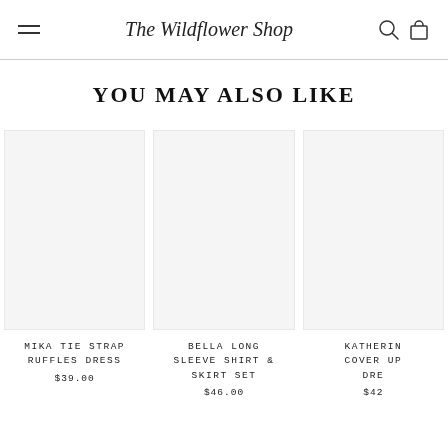The Wildflower Shop
YOU MAY ALSO LIKE
MIKA TIE STRAP RUFFLES DRESS
$39.00
BELLA LONG SLEEVE SHIRT & SKIRT SET
$46.00
KATHERIN COVER UP DRE
$42